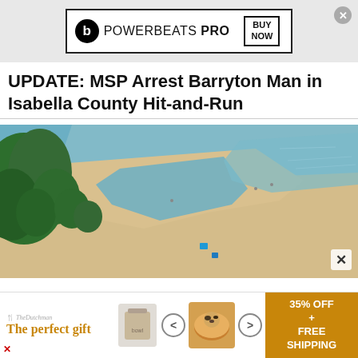[Figure (screenshot): Beats Powerbeats Pro advertisement banner with logo, text and BUY NOW button]
UPDATE: MSP Arrest Barryton Man in Isabella County Hit-and-Run
[Figure (photo): Aerial photograph of a beach with green trees on the left, sandy shoreline curving into blue water, with a few people and items visible on the sand]
[Figure (screenshot): Bottom advertisement: The Discoverer - The perfect gift, with food images, navigation arrows, and 35% OFF + FREE SHIPPING offer on orange background]